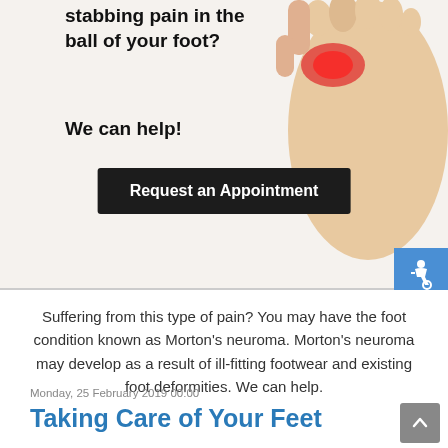[Figure (photo): Medical website banner showing foot with ball-of-foot pain highlighted in red/pink, with bold text 'stabbing pain in the ball of your foot? We can help!' and a black 'Request an Appointment' button, plus a blue accessibility icon]
Suffering from this type of pain? You may have the foot condition known as Morton's neuroma. Morton's neuroma may develop as a result of ill-fitting footwear and existing foot deformities. We can help.
Monday, 25 February 2019 00:00
Taking Care of Your Feet